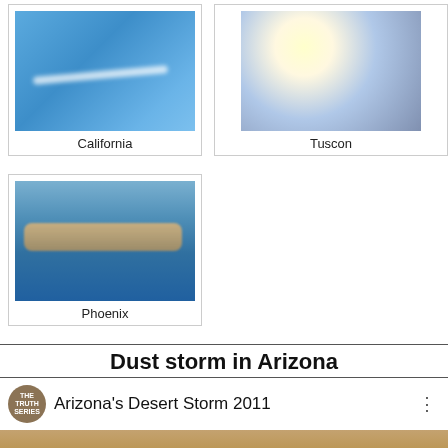[Figure (photo): Airplane with contrail against blue sky, labeled California]
California
[Figure (photo): Bright sun with contrail and hazy sky, labeled Tuscon]
Tuscon
[Figure (photo): Close-up of thick contrail band against blue sky, labeled Phoenix]
Phoenix
Dust storm in Arizona
[Figure (screenshot): YouTube video thumbnail for 'Arizona's Desert Storm 2011' by THE TRUTH SERIES channel, showing a dust storm with a play button]